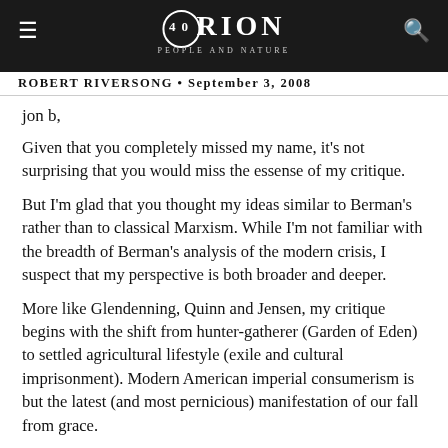ORION — PEOPLE AND NATURE (40th anniversary logo)
ROBERT RIVERSONG • September 3, 2008
jon b,
Given that you completely missed my name, it's not surprising that you would miss the essense of my critique.
But I'm glad that you thought my ideas similar to Berman's rather than to classical Marxism. While I'm not familiar with the breadth of Berman's analysis of the modern crisis, I suspect that my perspective is both broader and deeper.
More like Glendenning, Quinn and Jensen, my critique begins with the shift from hunter-gatherer (Garden of Eden) to settled agricultural lifestyle (exile and cultural imprisonment). Modern American imperial consumerism is but the latest (and most pernicious) manifestation of our fall from grace.
The root of the problem is not just moral (as Safina suggests) but spiritual and existential. Once we chose to separate from the flow (the web of life) and presume to dominion over…